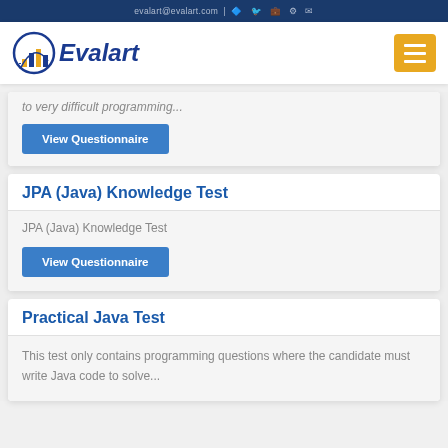evalart@evalart.com
[Figure (logo): Evalart logo with circular icon and italic blue text]
to very difficult programming...
View Questionnaire
JPA (Java) Knowledge Test
JPA (Java) Knowledge Test
View Questionnaire
Practical Java Test
This test only contains programming questions where the candidate must write Java code to solve...